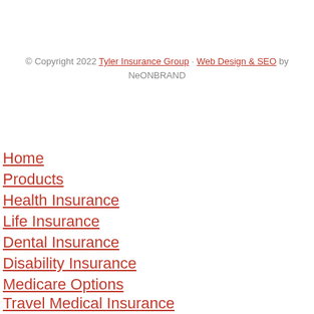© Copyright 2022 Tyler Insurance Group · Web Design & SEO by NeONBRAND
Home
Products
Health Insurance
Life Insurance
Dental Insurance
Disability Insurance
Medicare Options
Travel Medical Insurance
Pet Insurance